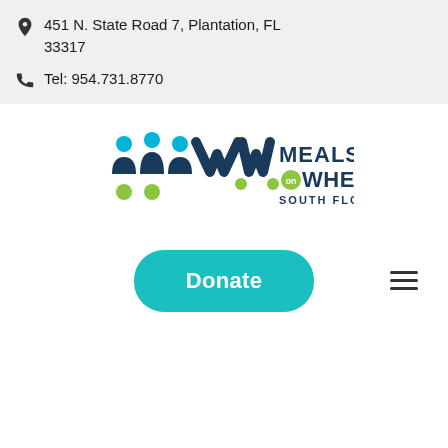451 N. State Road 7, Plantation, FL 33317
Tel: 954.731.8770
[Figure (logo): Meals on Wheels South Florida logo with stylized figures and chevron shapes in navy and green]
[Figure (infographic): Hamburger menu icon (three horizontal lines)]
Donate